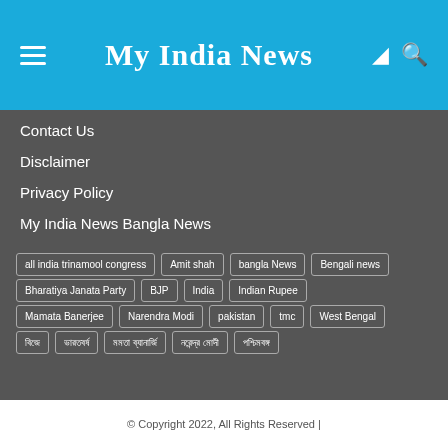My India News
Contact Us
Disclaimer
Privacy Policy
My India News Bangla News
all india trinamool congress
Amit shah
bangla News
Bengali news
Bharatiya Janata Party
BJP
India
Indian Rupee
Mamata Banerjee
Narendra Modi
pakistan
tmc
West Bengal
বিজে
ভারতবর্ষ
মমতা ব্যানার্জি
নরেন্দ্র মোদী
পশ্চিমবঙ্গ
© Copyright 2022, All Rights Reserved |